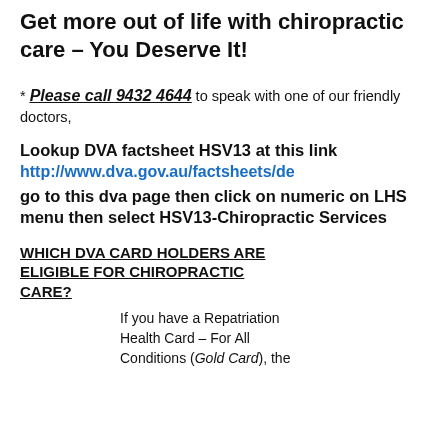Get more out of life with chiropractic care – You Deserve It!
* Please call 9432 4644 to speak with one of our friendly doctors,
Lookup DVA factsheet HSV13 at this link http://www.dva.gov.au/factsheets/de go to this dva page then click on numeric on LHS menu then select HSV13-Chiropractic Services
WHICH DVA CARD HOLDERS ARE ELIGIBLE FOR CHIROPRACTIC CARE?
If you have a Repatriation Health Card – For All Conditions (Gold Card), the